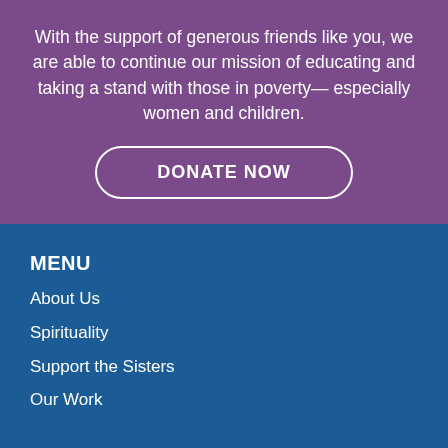With the support of generous friends like you, we are able to continue our mission of educating and taking a stand with those in poverty— especially women and children.
DONATE NOW
MENU
About Us
Spirituality
Support the Sisters
Our Work